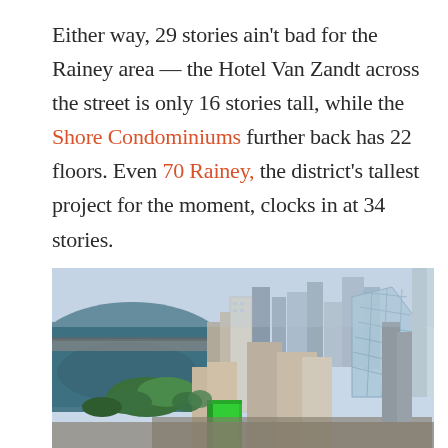Either way, 29 stories ain't bad for the Rainey area — the Hotel Van Zandt across the street is only 16 stories tall, while the Shore Condominiums further back has 22 floors. Even 70 Rainey, the district's tallest project for the moment, clocks in at 34 stories.
[Figure (photo): Aerial view of the Rainey Street district in Austin, Texas, showing buildings including a tall glass skyscraper and a bright green rectangular building under construction in the foreground, with a river and green park areas visible on the left.]